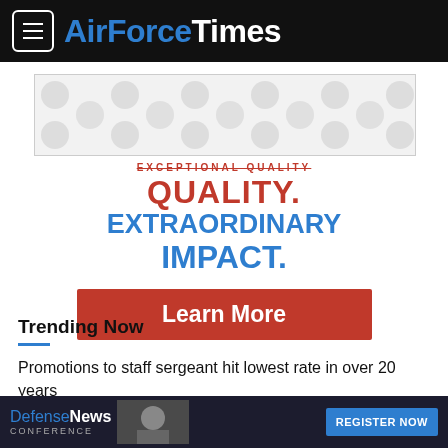AirForceTimes
[Figure (infographic): Advertisement banner with decorative pattern background showing QUALITY. EXTRAORDINARY IMPACT. in red and blue bold text with a red Learn More button]
Trending Now
Promotions to staff sergeant hit lowest rate in over 20 years
[Figure (infographic): Defense News Conference advertisement banner with REGISTER NOW button in blue]